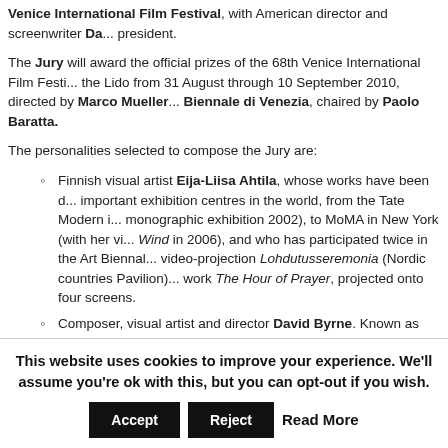Venice International Film Festival, with American director and screenwriter Da... president.
The Jury will award the official prizes of the 68th Venice International Film Festi... the Lido from 31 August through 10 September 2010, directed by Marco Mueller... Biennale di Venezia, chaired by Paolo Baratta.
The personalities selected to compose the Jury are:
Finnish visual artist Eija-Liisa Ahtila, whose works have been d... important exhibition centres in the world, from the Tate Modern i... monographic exhibition 2002), to MoMA in New York (with her vi... Wind in 2006), and who has participated twice in the Art Biennal... video-projection Lohdutusseremonia (Nordic countries Pavilion)... work The Hour of Prayer, projected onto four screens.
Composer, visual artist and director David Byrne. Known as the... Heads and later as creator of the highly-regarded record-label L... also works as a photographer, film director, author, and solo artis...
This website uses cookies to improve your experience. We'll assume you're ok with this, but you can opt-out if you wish.